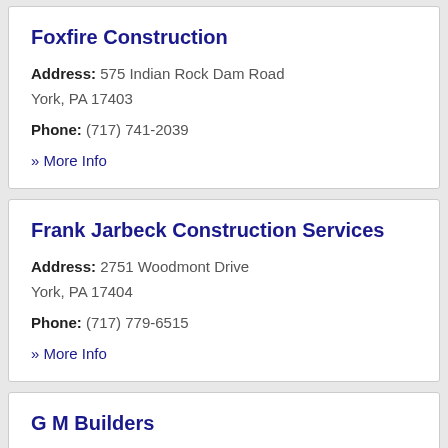Foxfire Construction
Address: 575 Indian Rock Dam Road York, PA 17403
Phone: (717) 741-2039
» More Info
Frank Jarbeck Construction Services
Address: 2751 Woodmont Drive York, PA 17404
Phone: (717) 779-6515
» More Info
G M Builders